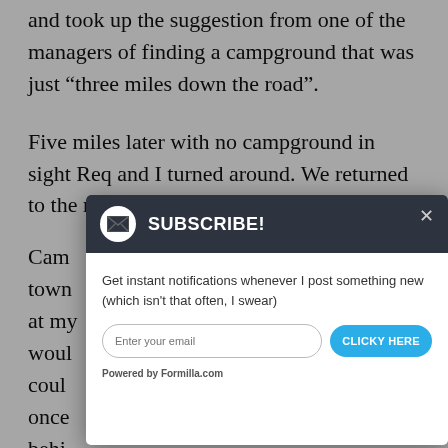and took up the suggestion from one of the managers of finding a campground that was just “three miles down the road”.
Five miles later with no campground in sight Req and I turned around. We returned to the main [obscured by modal]
Cam[p obscured] town[obscured]n at m[y obscured] woul[d obscured] coul[d obscured] once[obscured] behi[nd obscured] once[obscured]
We finally decided to go back to the second
[Figure (screenshot): A popup modal dialog with dark header containing email subscribe prompt. Header has envelope icon and 'SUBSCRIBE!' text with close X button. Body says 'Get instant notifications whenever I post something new (which isn't that often, I swear)' with an email input field and 'CLICKY HERE' button. Footer shows 'Powered by Formilla.com'.]